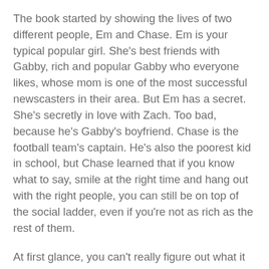The book started by showing the lives of two different people, Em and Chase. Em is your typical popular girl. She's best friends with Gabby, rich and popular Gabby who everyone likes, whose mom is one of the most successful newscasters in their area. But Em has a secret. She's secretly in love with Zach. Too bad, because he's Gabby's boyfriend. Chase is the football team's captain. He's also the poorest kid in school, but Chase learned that if you know what to say, smile at the right time and hang out with the right people, you can still be on top of the social ladder, even if you're not as rich as the rest of them.
At first glance, you can't really figure out what it is that connects Chase and Em, other than they move in the same social circle. Their lives are as different as night and day. But that mystery part, finding what ties them to The Furies is what keeps the readers going and reading. It was the sole reason I pushed through with the novel.
Fury feels scattered most of the time. Em and Chase's POV seems to be all over the place. At some point it felt like I was reading parts that were unnecessary. I can't really feel a